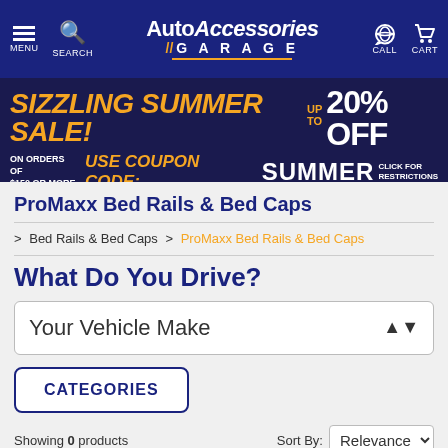[Figure (screenshot): AutoAccessories Garage website header with navigation icons (menu, search, call, cart) and logo]
[Figure (infographic): Sizzling Summer Sale banner: UP TO 20% OFF on orders of $150 or more, use coupon code SUMMER, click for restrictions]
ProMaxx Bed Rails & Bed Caps
> Bed Rails & Bed Caps > ProMaxx Bed Rails & Bed Caps
What Do You Drive?
Your Vehicle Make
CATEGORIES
Showing 0 products
Sort By: Relevance
Showing 0 products